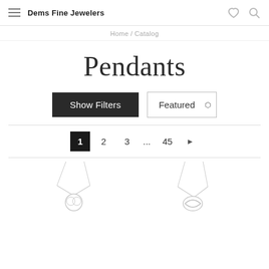Dems Fine Jewelers
Home / Catalog
Pendants
Show Filters   Featured
1  2  3  ...  45  ▶
[Figure (photo): Two silver pendant necklaces on white background]